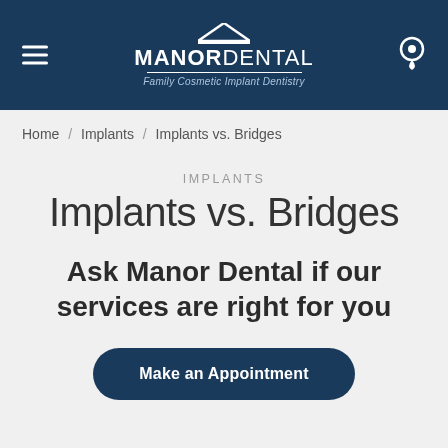MANOR DENTAL — Family Cosmetic Implant Dentistry
Home / Implants / Implants vs. Bridges
IMPLANTS
Implants vs. Bridges
Ask Manor Dental if our services are right for you
Make an Appointment